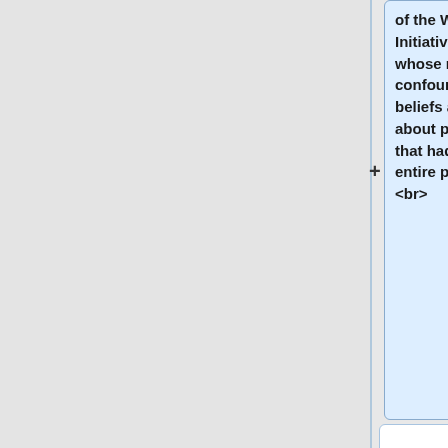of the Women's Health Initiative, a large federal project whose results have confounded some popular beliefs and raised questions about public health messages that had been addressed to the entire population.<br><br>
In the new study, the participants